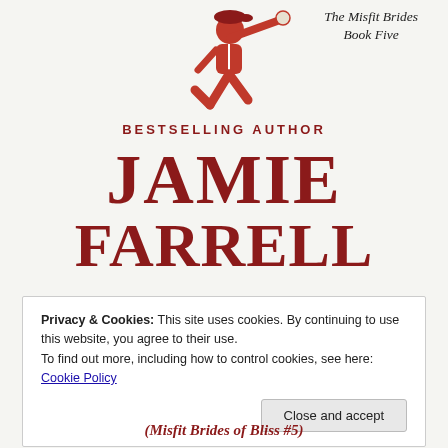[Figure (illustration): Baseball player pitching figure at the top of the book cover]
The Misfit Brides
Book Five
BESTSELLING AUTHOR
JAMIE
FARRELL
Privacy & Cookies: This site uses cookies. By continuing to use this website, you agree to their use.
To find out more, including how to control cookies, see here: Cookie Policy
Close and accept
(Misfit Brides of Bliss #5)